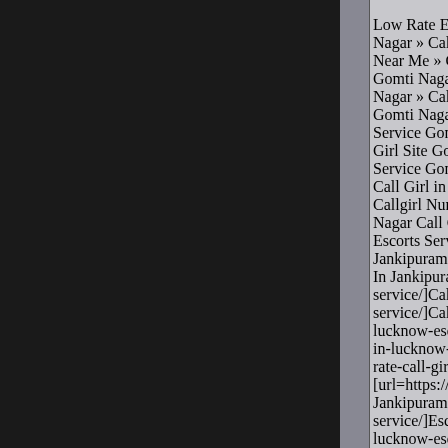Low Rate Escort Service in Nagar » Call Girl Night Service Near Me » Call Girls At Low Gomti Nagar » Sex In Gomti Nagar » Call Girl Escorts Gomti Nagar » Escort Girls Service Gomti Nagar » Girls Girl Site Gomti Nagar » Call Service Gomti Nagar » Call Call Girl in Gomti Nagar » Callgirl Number in Gomti Nagar Call Girl Contact Number Escorts Services In Gomti Nagar Jankipuram » [url=https://e In Jankipuram[/url] » [url=ht service/]Call Girl Near Me[/u service/]Call Girl Number In lucknow-escort-service/]Jan in-lucknow-escort-service/]E rate-call-girls-in-lucknow-es [url=https://escortncr.com/be Jankipuram[/url] » [url=https service/]Escort Service Jank lucknow-escort-service/]Pro girls-in-lucknow-escort-serv call-girls-in-lucknow-escort- rate-call-girls-in-lucknow-es [url=https://escortncr.com/be Girls[/url] » [url=https://esco Contact Number Jankipuram